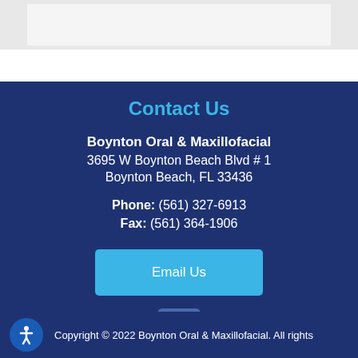[Figure (screenshot): Top gray area representing the upper portion of the webpage]
Contact Us
Boynton Oral & Maxillofacial
3695 W Boynton Beach Blvd # 1
Boynton Beach, FL 33436
Phone: (561) 327-6913
Fax: (561) 364-1906
[Figure (other): Email Us button in cyan/light blue]
[Figure (logo): Facebook icon button]
Copyright © 2022 Boynton Oral & Maxillofacial. All rights